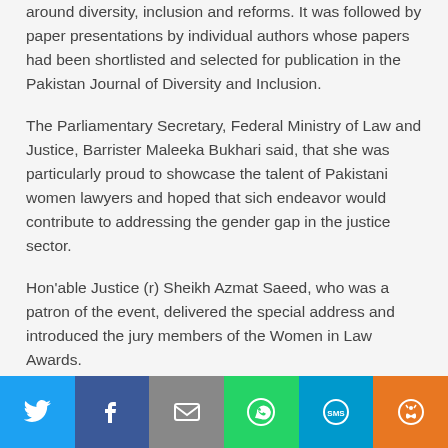around diversity, inclusion and reforms. It was followed by paper presentations by individual authors whose papers had been shortlisted and selected for publication in the Pakistan Journal of Diversity and Inclusion.
The Parliamentary Secretary, Federal Ministry of Law and Justice, Barrister Maleeka Bukhari said, that she was particularly proud to showcase the talent of Pakistani women lawyers and hoped that sich endeavor would contribute to addressing the gender gap in the justice sector.
Hon'able Justice (r) Sheikh Azmat Saeed, who was a patron of the event, delivered the special address and introduced the jury members of the Women in Law Awards.
Her excellency, Baroness Helena Kennedy, a senior jury member, congratulated the ministry on such an unprecedented effort in Pakistan and highlighted how inspiring those young women lawyers were.
[Figure (infographic): Social sharing bar with Twitter, Facebook, Email, WhatsApp, SMS, and More buttons]